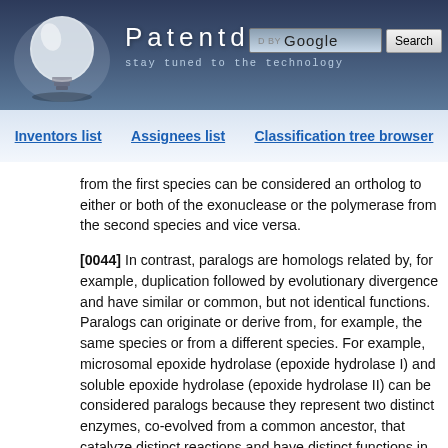Patentdocs — stay tuned to the technology
Inventors list | Assignees list | Classification tree browser
from the first species can be considered an ortholog to either or both of the exonuclease or the polymerase from the second species and vice versa.
[0044] In contrast, paralogs are homologs related by, for example, duplication followed by evolutionary divergence and have similar or common, but not identical functions. Paralogs can originate or derive from, for example, the same species or from a different species. For example, microsomal epoxide hydrolase (epoxide hydrolase I) and soluble epoxide hydrolase (epoxide hydrolase II) can be considered paralogs because they represent two distinct enzymes, co-evolved from a common ancestor, that catalyze distinct reactions and have distinct functions in the same species. Paralogs are proteins from the same species with significant sequence similarity to each other suggesting that they are homologous, or related through co-evolution from a common ancestor. Groups of paralogous protein families